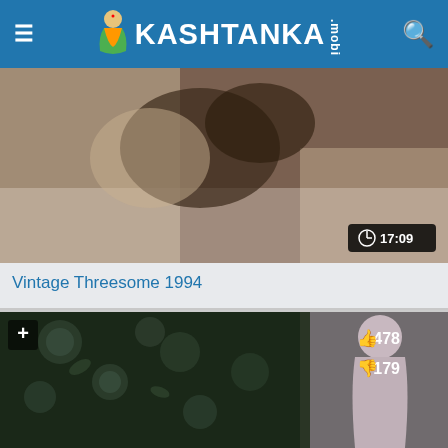KASHTANKA .mobi
[Figure (photo): Video thumbnail showing intimate scene, with duration badge showing 17:09]
Vintage Threesome 1994
[Figure (photo): Video thumbnail with dark floral background and figure, showing like count 478 and dislike count 179]